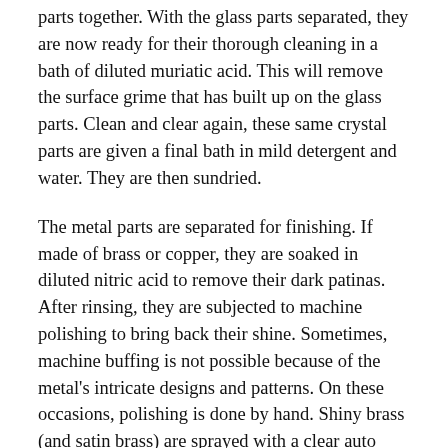parts together. With the glass parts separated, they are now ready for their thorough cleaning in a bath of diluted muriatic acid. This will remove the surface grime that has built up on the glass parts. Clean and clear again, these same crystal parts are given a final bath in mild detergent and water. They are then sundried.
The metal parts are separated for finishing. If made of brass or copper, they are soaked in diluted nitric acid to remove their dark patinas. After rinsing, they are subjected to machine polishing to bring back their shine. Sometimes, machine buffing is not possible because of the metal's intricate designs and patterns. On these occasions, polishing is done by hand. Shiny brass (and satin brass) are sprayed with a clear auto acrylic coat and baked in an oven to dry and seal the shine. Such shine is good for 4-6 years.
If the metal parts are painted, the nitric acid